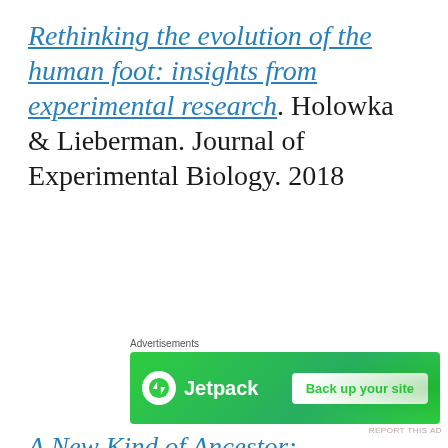Rethinking the evolution of the human foot: insights from experimental research. Holowka & Lieberman. Journal of Experimental Biology. 2018
[Figure (other): Jetpack advertisement banner: green background with Jetpack logo on left and 'Back up your site' button on right. Labeled 'Advertisements' above.]
A New Kind of Ancestor: Ardipithecus Unveiled. White & Gibbons. SCIENCE News Focus. sciencemag.org. 2009
[Figure (other): DuckDuckGo advertisement banner: orange left section with text 'Search, browse, and email with more privacy. All in One Free App' and dark right section with DuckDuckGo logo. Labeled 'Advertisements' above.]